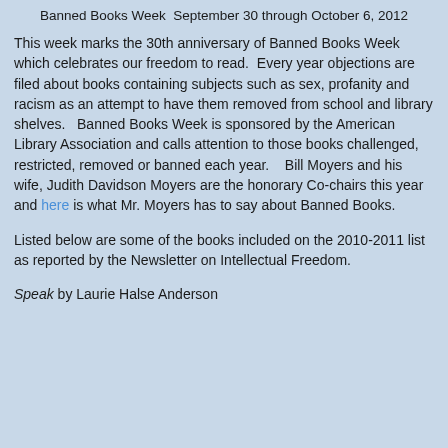Banned Books Week  September 30 through October 6, 2012
This week marks the 30th anniversary of Banned Books Week which celebrates our freedom to read.  Every year objections are filed about books containing subjects such as sex, profanity and racism as an attempt to have them removed from school and library shelves.   Banned Books Week is sponsored by the American Library Association and calls attention to those books challenged, restricted, removed or banned each year.    Bill Moyers and his wife, Judith Davidson Moyers are the honorary Co-chairs this year and here is what Mr. Moyers has to say about Banned Books.
Listed below are some of the books included on the 2010-2011 list as reported by the Newsletter on Intellectual Freedom.
Speak by Laurie Halse Anderson